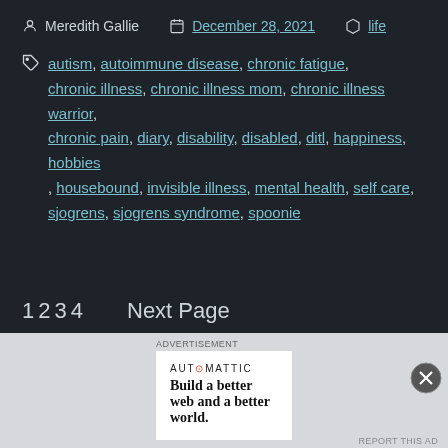Meredith Gallie   December 28, 2021   life
autism, autoimmune disease, chronic fatigue, chronic illness, chronic illness mom, chronic illness warrior, chronic pain, diary, disability, disabled, ditl, happiness, hobbies, housebound, invisible illness, mental health, self care, sjogrens, sjogrens syndrome, spoonie
1 2 3 4   Next Page
AUT⊙MATTIC
Build a better web and a better world.